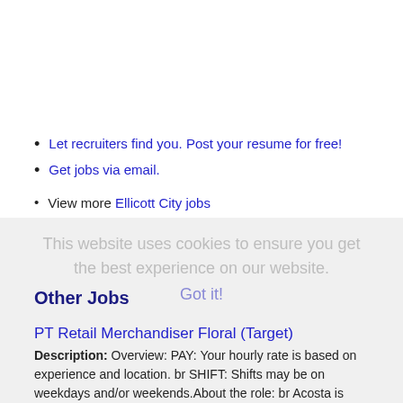Let recruiters find you. Post your resume for free!
Get jobs via email.
View more Ellicott City jobs
This website uses cookies to ensure you get the best experience on our website.
Other Jobs
PT Retail Merchandiser Floral (Target)
Description: Overview: PAY: Your hourly rate is based on experience and location. br SHIFT: Shifts may be on weekdays and/or weekends.About the role: br Acosta is looking for merchandisers who